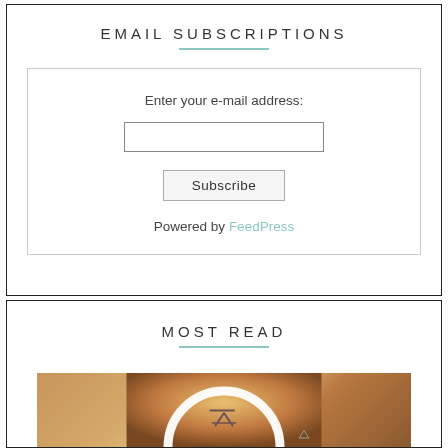EMAIL SUBSCRIPTIONS
Enter your e-mail address:
Subscribe
Powered by FeedPress
MOST READ
[Figure (photo): A warm golden-toned circular arc/halo light with a white glowing ring against a brown/amber background, with a stylized logo or icon inside]